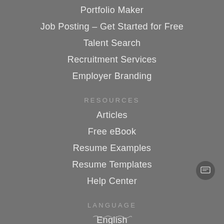Portfolio Maker
Job Posting – Get Started for Free
Talent Search
Recruitment Services
Employer Branding
RESOURCES
Articles
Free eBook
Resume Examples
Resume Templates
Help Center
LANGUAGE
English